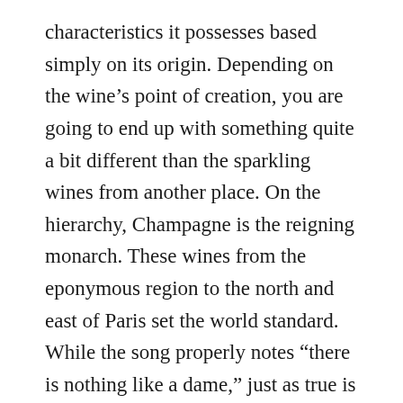characteristics it possesses based simply on its origin. Depending on the wine's point of creation, you are going to end up with something quite a bit different than the sparkling wines from another place. On the hierarchy, Champagne is the reigning monarch. These wines from the eponymous region to the north and east of Paris set the world standard. While the song properly notes “there is nothing like a dame,” just as true is that there is nothing like Champagne.
Other regions produce their own versions such as Prosecco from Italy, Cava from Spain, Cremant from regions of France (that are not